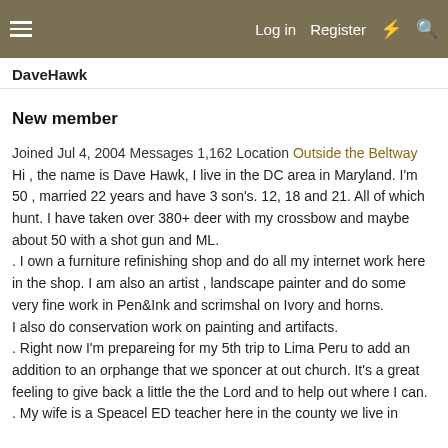Log in  Register
DaveHawk
New member
Joined Jul 4, 2004 Messages 1,162 Location Outside the Beltway Hi , the name is Dave Hawk, I live in the DC area in Maryland. I'm 50 , married 22 years and have 3 son's. 12, 18 and 21. All of which hunt. I have taken over 380+ deer with my crossbow and maybe about 50 with a shot gun and ML.
. I own a furniture refinishing shop and do all my internet work here in the shop. I am also an artist , landscape painter and do some very fine work in Pen&Ink and scrimshal on Ivory and horns.
I also do conservation work on painting and artifacts.
. Right now I'm prepareing for my 5th trip to Lima Peru to add an addition to an orphange that we sponcer at out church. It's a great feeling to give back a little the the Lord and to help out where I can.
. My wife is a Speacel ED teacher here in the county we live in